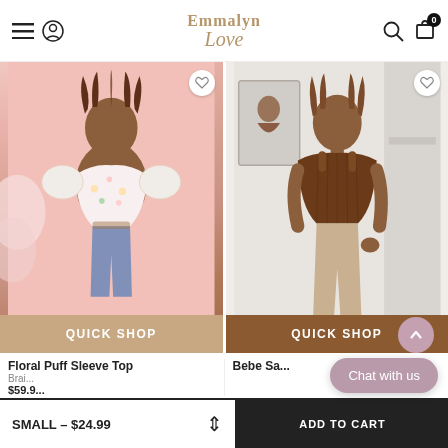Emmalyn Love — navigation header with hamburger menu, search icon, cart icon (0 items)
[Figure (photo): Model wearing a floral puff sleeve crop top, pink background, with QUICK SHOP overlay button]
[Figure (photo): Model wearing a brown satin corset top with tan pants, white interior background, with QUICK SHOP overlay button]
Floral Puff Sleeve Top
Bebe Sa...
Brain...
$59.9...
SMALL – $24.99
ADD TO CART
Chat with us